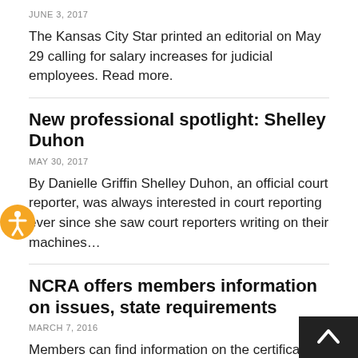JUNE 3, 2017
The Kansas City Star printed an editorial on May 29 calling for salary increases for judicial employees. Read more.
New professional spotlight: Shelley Duhon
MAY 30, 2017
By Danielle Griffin Shelley Duhon, an official court reporter, was always interested in court reporting ever since she saw court reporters writing on their machines...
NCRA offers members information on issues, state requirements
MARCH 7, 2016
Members can find information on the certification, notary, and read-and-sign requirements of various states through the National Court Reporters Association website. Th section of the...